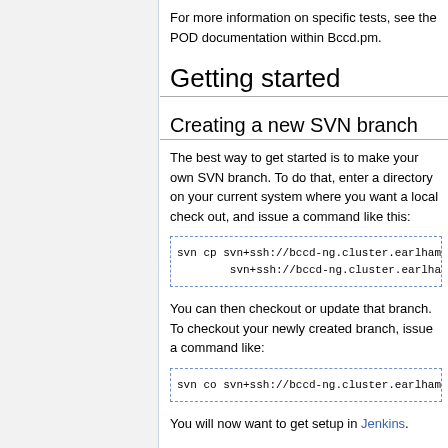For more information on specific tests, see the POD documentation within Bccd.pm.
Getting started
Creating a new SVN branch
The best way to get started is to make your own SVN branch. To do that, enter a directory on your current system where you want a local check out, and issue a command like this:
svn cp svn+ssh://bccd-ng.cluster.earlham
        svn+ssh://bccd-ng.cluster.earlham.edu
You can then checkout or update that branch. To checkout your newly created branch, issue a command like:
svn co svn+ssh://bccd-ng.cluster.earlham
You will now want to get setup in Jenkins.